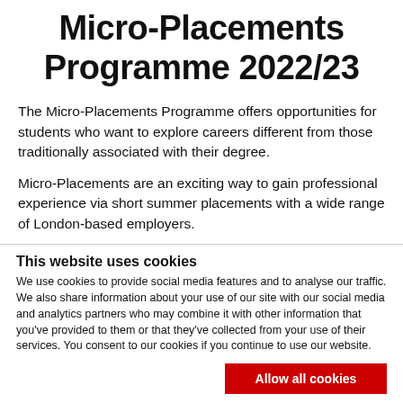Micro-Placements Programme 2022/23
The Micro-Placements Programme offers opportunities for students who want to explore careers different from those traditionally associated with their degree.
Micro-Placements are an exciting way to gain professional experience via short summer placements with a wide range of London-based employers.
The aim of the programme is to give you real-life exposure to
This website uses cookies
We use cookies to provide social media features and to analyse our traffic. We also share information about your use of our site with our social media and analytics partners who may combine it with other information that you've provided to them or that they've collected from your use of their services. You consent to our cookies if you continue to use our website.
Allow all cookies